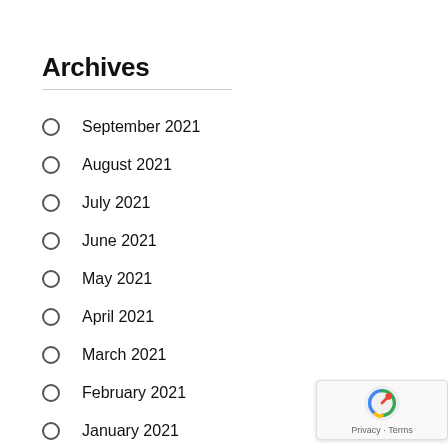Archives
September 2021
August 2021
July 2021
June 2021
May 2021
April 2021
March 2021
February 2021
January 2021
December 2020
November 2020